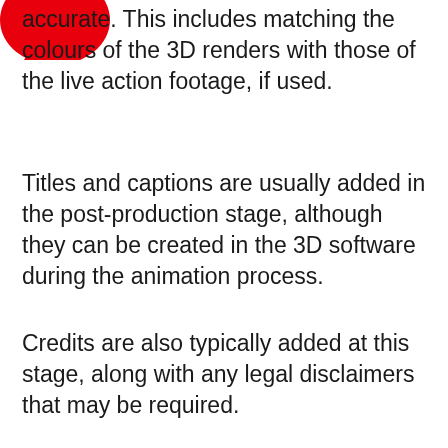[Figure (illustration): Red speech bubble or blob shape in the top-left corner, partially cropped]
accurate. This includes matching the colours of the 3D renders with those of the live action footage, if used.
Titles and captions are usually added in the post-production stage, although they can be created in the 3D software during the animation process.
Credits are also typically added at this stage, along with any legal disclaimers that may be required.